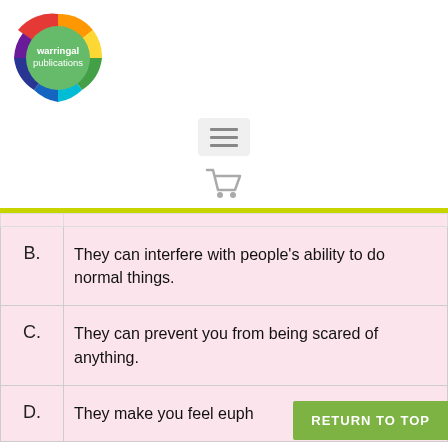[Figure (logo): Warringal Publications circular logo with rainbow ring and green center]
[Figure (other): Hamburger menu button icon]
[Figure (other): Shopping cart icon]
| B. | They can interfere with people's ability to do normal things. |
| C. | They can prevent you from being scared of anything. |
| D. | They make you feel euph... |
RETURN TO TOP